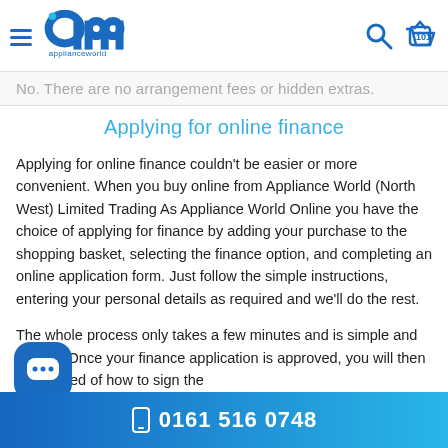Appliance World header with logo, hamburger menu, search and basket icons
No. There are no arrangement fees or hidden extras.
Applying for online finance
Applying for online finance couldn't be easier or more convenient. When you buy online from Appliance World (North West) Limited Trading As Appliance World Online you have the choice of applying for finance by adding your purchase to the shopping basket, selecting the finance option, and completing an online application form. Just follow the simple instructions, entering your personal details as required and we'll do the rest.
The whole process only takes a few minutes and is simple and secure. Once your finance application is approved, you will then be advised of how to sign the
0161 516 0748